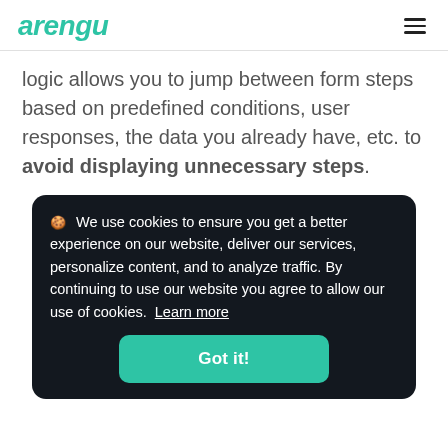arengu
logic allows you to jump between form steps based on predefined conditions, user responses, the data you already have, etc. to avoid displaying unnecessary steps.
🍪 We use cookies to ensure you get a better experience on our website, deliver our services, personalize content, and to analyze traffic. By continuing to use our website you agree to allow our use of cookies. Learn more
Got it!